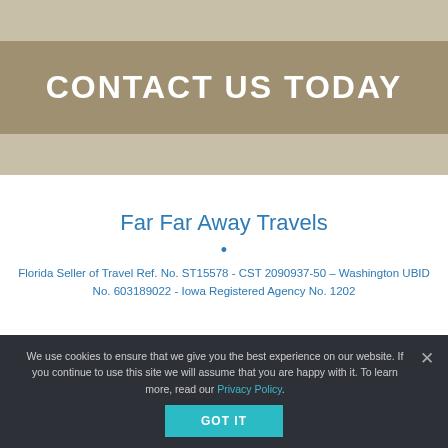CONTACT US TODAY
Far Far Away Travels
•
Florida Seller of Travel Ref. No. ST15578 - CST 2090937-50 – Washington UBID No. 603189022 - Iowa Registered Agency No. 1202
We use cookies to ensure that we give you the best experience on our website. If you continue to use this site we will assume that you are happy with it. To learn more, read our Privacy Policy.
GOT IT